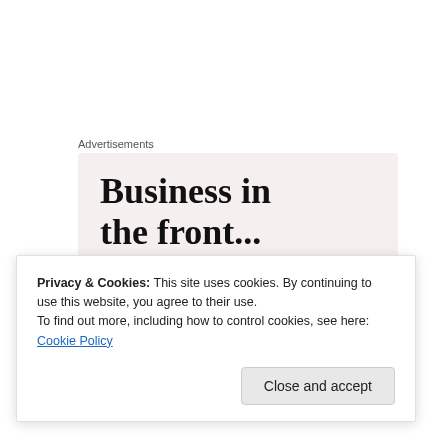Advertisements
[Figure (illustration): Advertisement banner with two sections: top section with light beige background showing 'Business in the front...' in large bold serif text, and bottom section with orange-pink gradient background showing 'WordPress' in large bold serif text with decorative circles]
Privacy & Cookies: This site uses cookies. By continuing to use this website, you agree to their use.
To find out more, including how to control cookies, see here: Cookie Policy
Close and accept